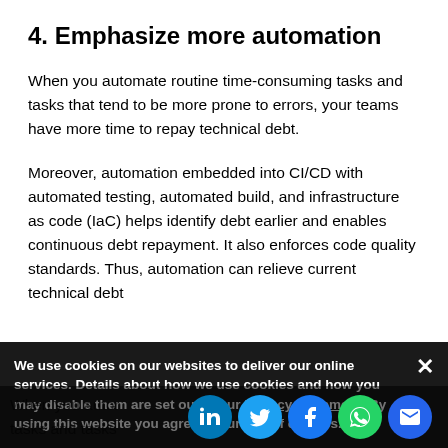4. Emphasize more automation
When you automate routine time-consuming tasks and tasks that tend to be more prone to errors, your teams have more time to repay technical debt.
Moreover, automation embedded into CI/CD with automated testing, automated build, and infrastructure as code (IaC) helps identify debt earlier and enables continuous debt repayment. It also enforces code quality standards. Thus, automation can relieve current technical debt
We use cookies on our websites to deliver our online services. Details about how we use cookies and how you may disable them are set out in our Privacy Statement. By using this website you agree to our use of cookies.